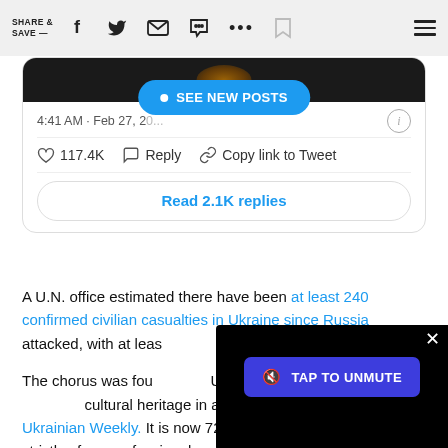SHARE & SAVE —
[Figure (screenshot): Partial tweet card showing a dark image at top, timestamp '4:41 AM · Feb 27, 2[0...]', a blue 'SEE NEW POSTS' pill button, like count 117.4K, Reply, Copy link to Tweet actions, and a 'Read 2.1K replies' button]
A U.N. office estimated there have been at least 240 confirmed civilian ca[sualties] in Ukraine since Russia attacked, with at lea[st...]
The chorus was fou[nded by] Ukrainian immigrant[s to preserve] cultural heritage in a[merica, per the] Ukrainian Weekly. It is now 72 years old and is composed strictly of nonprofessional performers.
[Figure (screenshot): Black video player overlay with blue 'TAP TO UNMUTE' button and X close button]